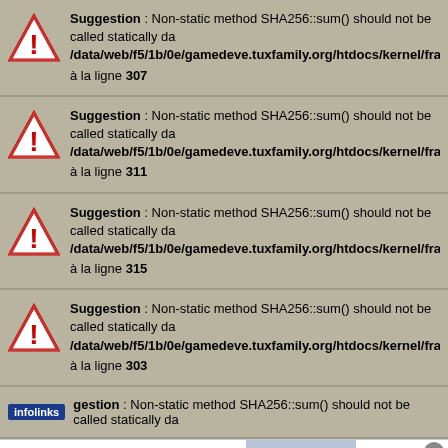Suggestion : Non-static method SHA256::sum() should not be called statically da /data/web/f5/1b/0e/gamedeve.tuxfamily.org/htdocs/kernel/framework/lib/sha2 à la ligne 307
Suggestion : Non-static method SHA256::sum() should not be called statically da /data/web/f5/1b/0e/gamedeve.tuxfamily.org/htdocs/kernel/framework/lib/sha2 à la ligne 311
Suggestion : Non-static method SHA256::sum() should not be called statically da /data/web/f5/1b/0e/gamedeve.tuxfamily.org/htdocs/kernel/framework/lib/sha2 à la ligne 315
Suggestion : Non-static method SHA256::sum() should not be called statically da /data/web/f5/1b/0e/gamedeve.tuxfamily.org/htdocs/kernel/framework/lib/sha2 à la ligne 303
Suggestion : Non-static method SHA256::sum() should not be called statically da
[Figure (screenshot): Bloomingdale's advertisement banner: View Today's Top Deals! with SHOP NOW > button and model photo]